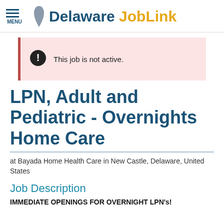MENU | Delaware JobLink
This job is not active.
LPN, Adult and Pediatric - Overnights Home Care
at Bayada Home Health Care in New Castle, Delaware, United States
Job Description
IMMEDIATE OPENINGS FOR OVERNIGHT LPN's!